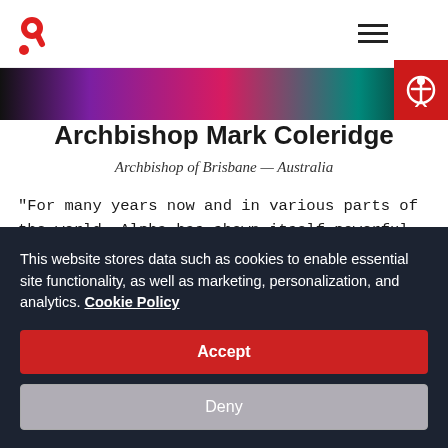Alpha logo and navigation bar with hamburger menu
[Figure (photo): Colorful banner image strip with purple, pink, and teal colors]
Archbishop Mark Coleridge
Archbishop of Brisbane — Australia
“For many years now and in various parts of the world, Alpha has shown itself powerful in bringing faith alive in all kinds of people. Its focus is on Jesus, its method is
This website stores data such as cookies to enable essential site functionality, as well as marketing, personalization, and analytics. Cookie Policy
Accept
Deny